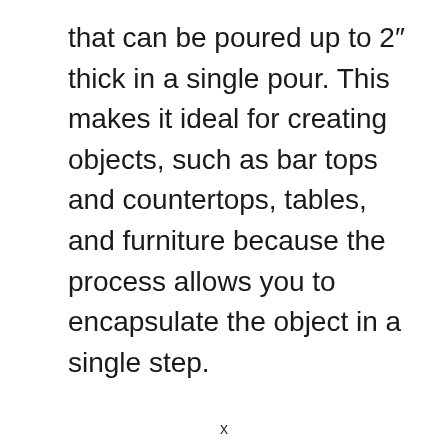that can be poured up to 2" thick in a single pour. This makes it ideal for creating objects, such as bar tops and countertops, tables, and furniture because the process allows you to encapsulate the object in a single step.
x